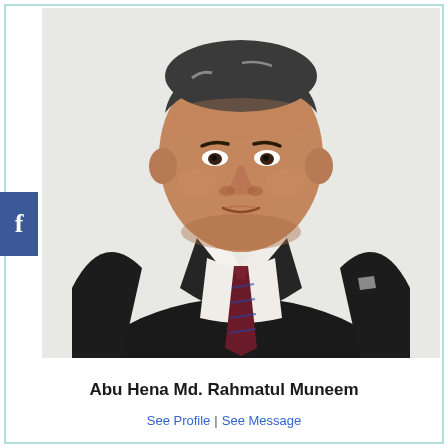[Figure (photo): Portrait photo of Abu Hena Md. Rahmatul Muneem, a middle-aged South Asian man wearing a dark suit with a striped burgundy-blue tie and white dress shirt, against a light background.]
Abu Hena Md. Rahmatul Muneem
See Profile | See Message